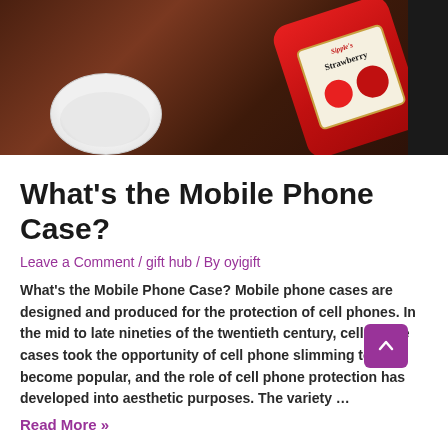[Figure (photo): Photo of a red strawberry-themed mobile phone case with ketchup bottle design lying on a dark wooden surface next to a white bowl with some food, and a dark smartphone on the right edge.]
What's the Mobile Phone Case?
Leave a Comment / gift hub / By oyigift
What's the Mobile Phone Case? Mobile phone cases are designed and produced for the protection of cell phones. In the mid to late nineties of the twentieth century, cell phone cases took the opportunity of cell phone slimming to become popular, and the role of cell phone protection has developed into aesthetic purposes. The variety …
Read More »